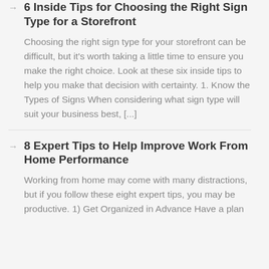6 Inside Tips for Choosing the Right Sign Type for a Storefront
Choosing the right sign type for your storefront can be difficult, but it's worth taking a little time to ensure you make the right choice. Look at these six inside tips to help you make that decision with certainty. 1. Know the Types of Signs When considering what sign type will suit your business best, [...]
8 Expert Tips to Help Improve Work From Home Performance
Working from home may come with many distractions, but if you follow these eight expert tips, you may be productive. 1) Get Organized in Advance Have a plan